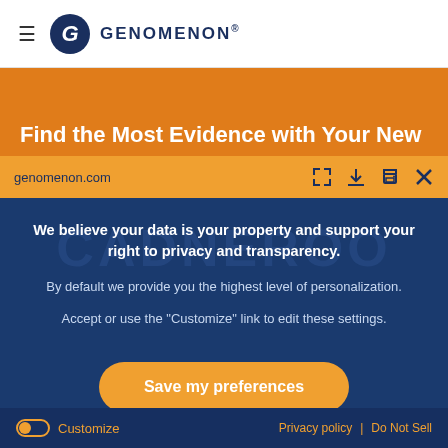≡ GENOMENON®
Find the Most Evidence with Your New
genomenon.com
We believe your data is your property and support your right to privacy and transparency. By default we provide you the highest level of personalization. Accept or use the "Customize" link to edit these settings.
Save my preferences
Customize   Privacy policy  |  Do Not Sell